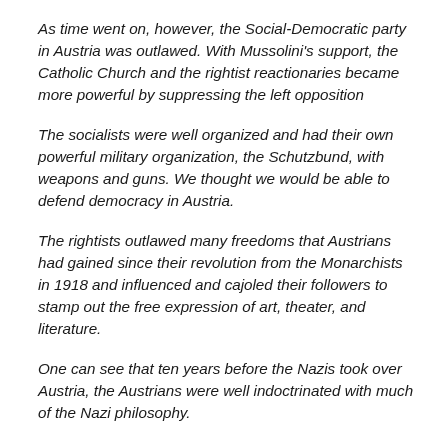As time went on, however, the Social-Democratic party in Austria was outlawed. With Mussolini's support, the Catholic Church and the rightist reactionaries became more powerful by suppressing the left opposition
The socialists were well organized and had their own powerful military organization, the Schutzbund, with weapons and guns. We thought we would be able to defend democracy in Austria.
The rightists outlawed many freedoms that Austrians had gained since their revolution from the Monarchists in 1918 and influenced and cajoled their followers to stamp out the free expression of art, theater, and literature.
One can see that ten years before the Nazis took over Austria, the Austrians were well indoctrinated with much of the Nazi philosophy.